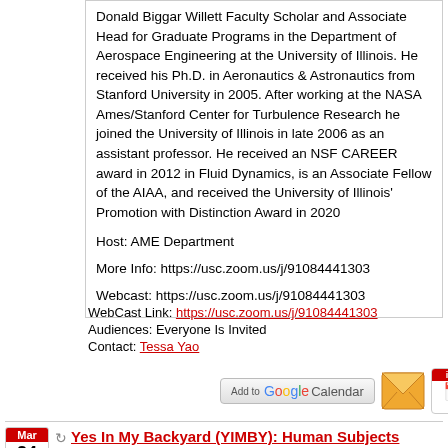Donald Biggar Willett Faculty Scholar and Associate Head for Graduate Programs in the Department of Aerospace Engineering at the University of Illinois. He received his Ph.D. in Aeronautics & Astronautics from Stanford University in 2005. After working at the NASA Ames/Stanford Center for Turbulence Research he joined the University of Illinois in late 2006 as an assistant professor. He received an NSF CAREER award in 2012 in Fluid Dynamics, is an Associate Fellow of the AIAA, and received the University of Illinois' Promotion with Distinction Award in 2020
Host: AME Department
More Info: https://usc.zoom.us/j/91084441303
Webcast: https://usc.zoom.us/j/91084441303
WebCast Link: https://usc.zoom.us/j/91084441303
Audiences: Everyone Is Invited
Contact: Tessa Yao
[Figure (other): Add to Google Calendar button, envelope/reminder icon, and iCal icon]
Yes In My Backyard (YIMBY): Human Subjects Research